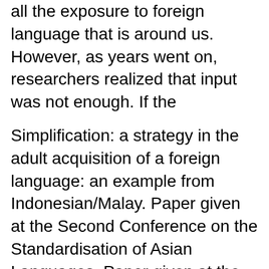all the exposure to foreign language that is around us. However, as years went on, researchers realized that input was not enough. If the
Simplification: a strategy in the adult acquisition of a foreign language: an example from Indonesian/Malay. Paper given at the Second Conference on the Standardisation of Asian Languages. Paper given at the Second Conference on the Standardisation of Asian Languages. Similarities between First and Second Language Acquisition 2.1 Developmental Sequences Researchers have carried out numerous studies to understand the nature of first and second language вЂ¦